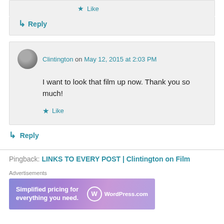Like
Reply
Clintington on May 12, 2015 at 2:03 PM
I want to look that film up now. Thank you so much!
Like
Reply
Pingback: LINKS TO EVERY POST | Clintington on Film
Advertisements
[Figure (infographic): WordPress.com advertisement banner: 'Simplified pricing for everything you need.' with WordPress.com logo on gradient purple/lavender background]